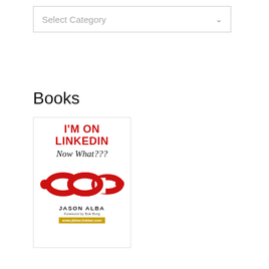[Figure (screenshot): Dropdown select box with placeholder text 'Select Category' and a chevron arrow on the right]
Books
[Figure (illustration): Book cover for 'I'm on LinkedIn - Now What???' by Jason Alba, featuring red chain links and cursive subtitle text]